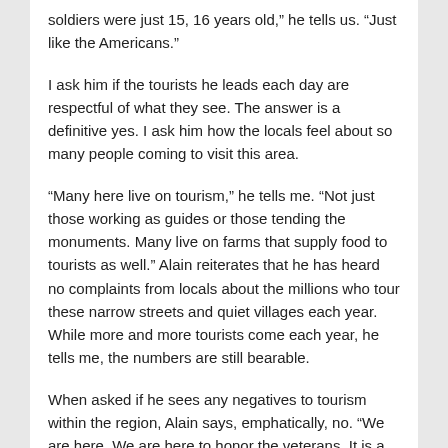soldiers were just 15, 16 years old,” he tells us.  “Just like the Americans.”
I ask him if the tourists he leads each day are respectful of what they see.  The answer is a definitive yes.  I ask him how the locals feel about so many people coming to visit this area.
“Many here live on tourism,” he tells me.  “Not just those working as guides or those tending the monuments. Many live on farms that supply food to tourists as well.” Alain reiterates that he has heard no complaints from locals about the millions who tour these narrow streets and quiet villages each year.  While more and more tourists come each year, he tells me, the numbers are still bearable.
When asked if he sees any negatives to tourism within the region, Alain says, emphatically, no. “We are here.  We are here to honor the veterans.  It is a way to make money, of course, but it’s a way to keep the memory of the boys alive.  Not to be forgotten.  We must never forget